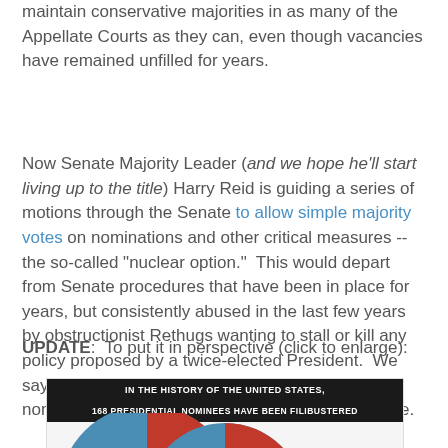maintain conservative majorities in as many of the Appellate Courts as they can, even though vacancies have remained unfilled for years.
Now Senate Majority Leader (and we hope he'll start living up to the title) Harry Reid is guiding a series of motions through the Senate to allow simple majority votes on nominations and other critical measures -- the so-called "nuclear option."  This would depart from Senate procedures that have been in place for years, but consistently abused in the last few years by obstructionist Rethugs wanting to stall or kill any policy proposed by a twice-elected President.  We say "it's about time" and hope that important nominations and other business will finally get done.
UPDATE:  To put it in perspective (click to enlarge):
[Figure (infographic): Infographic with black header bars reading 'IN THE HISTORY OF THE UNITED STATES, 168 PRESIDENTIAL NOMINEES HAVE BEEN FILIBUSTERED' and a partial pie chart showing blue and red sections visible at the bottom.]